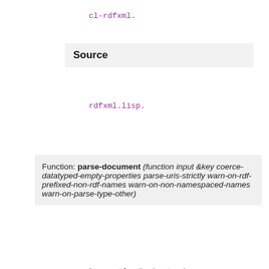cl-rdfxml.
Source
rdfxml.lisp.
Function: parse-document (function input &key coerce-datatyped-empty-properties parse-uris-strictly warn-on-rdf-prefixed-non-rdf-names warn-on-non-namespaced-names warn-on-parse-type-other)
parse-document function input => | function—a function of three arguments input—an input suitable for cxml:make-source Parse-document parses input, binds *triple-receiver* to function, and calls emit-triple with each triple that can be extracted from the input. *blank-nodes* is rebound to a new equal hash table and maps blank node identifiers to blank node half the